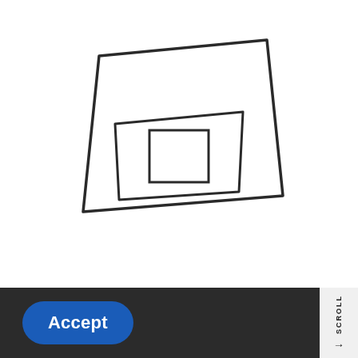[Figure (illustration): A schematic icon showing a perspective/nested square illustration: an outer tilted quadrilateral (parallelogram-like rectangle in perspective), inside it a trapezoid shape, and inside that a small square. All outlines are dark gray/charcoal on white background.]
Accept